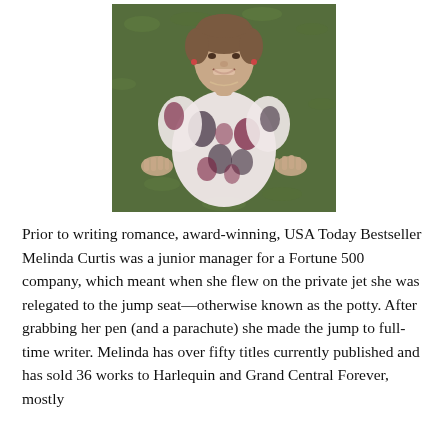[Figure (photo): Overhead photo of a smiling woman lying on grass, wearing a floral patterned dress in white, black, and burgundy, with hands placed flat on the grass beside her.]
Prior to writing romance, award-winning, USA Today Bestseller Melinda Curtis was a junior manager for a Fortune 500 company, which meant when she flew on the private jet she was relegated to the jump seat—otherwise known as the potty. After grabbing her pen (and a parachute) she made the jump to full-time writer. Melinda has over fifty titles currently published and has sold 36 works to Harlequin and Grand Central Forever, mostly